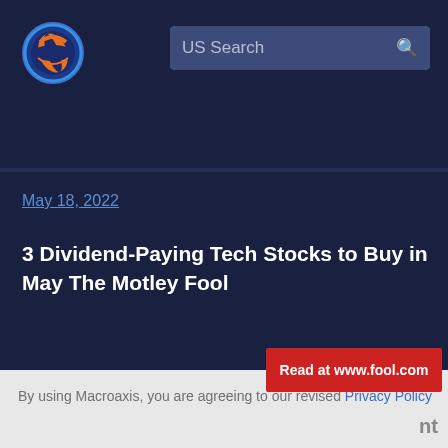US Search
May 18, 2022
3 Dividend-Paying Tech Stocks to Buy in May The Motley Fool
Read at www.fool.com
By using Macroaxis, you are agreeing to our revised Privacy Policy
OK